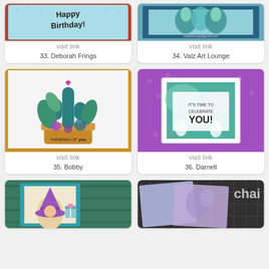[Figure (photo): Card with Happy Birthday text, item 33]
visit link
33. Deborah Frings
[Figure (photo): Card with teal floral design, item 34]
visit link
34. Valz Art Lounge
[Figure (photo): Card with cactus and succulents, Thinking of You, item 35]
visit link
35. Bobby
[Figure (photo): Purple card with watercolor background and IT'S TIME TO CELEBRATE YOU!, item 36]
visit link
36. Darnell
[Figure (photo): Teal card with gnome character, item 37]
[Figure (photo): Craft materials with floral embossed panels, item 38]